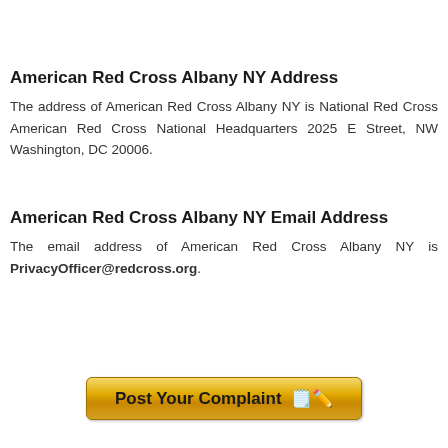American Red Cross Albany NY Address
The address of American Red Cross Albany NY is National Red Cross American Red Cross National Headquarters 2025 E Street, NW Washington, DC 20006.
American Red Cross Albany NY Email Address
The email address of American Red Cross Albany NY is PrivacyOfficer@redcross.org.
[Figure (other): A gold/yellow button labeled 'Post Your Complaint' with a notepad and pencil emoji icon]